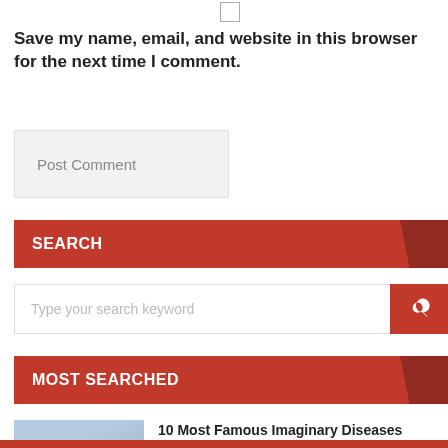Save my name, email, and website in this browser for the next time I comment.
Post Comment
SEARCH
Type your search keyword
MOST SEARCHED
10 Most Famous Imaginary Diseases
November 22, 2020  239  Like